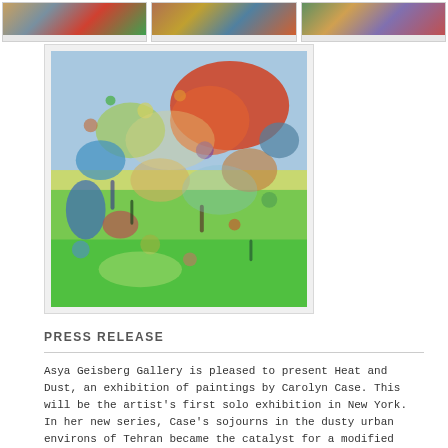[Figure (photo): Three small thumbnail images of colorful abstract paintings arranged horizontally at the top of the page, each in a light gray bordered box with a small text label beneath.]
[Figure (photo): A colorful abstract painting displayed as the main image in the center-left of the page, featuring vivid blues, greens, reds, oranges and yellows in a loosely representational style suggesting an outdoor scene. The painting is set in a light gray bordered frame.]
PRESS RELEASE
Asya Geisberg Gallery is pleased to present Heat and Dust, an exhibition of paintings by Carolyn Case. This will be the artist's first solo exhibition in New York. In her new series, Case's sojourns in the dusty urban environs of Tehran became the catalyst for a modified palette and conceptualization of space. Typified in the early work of